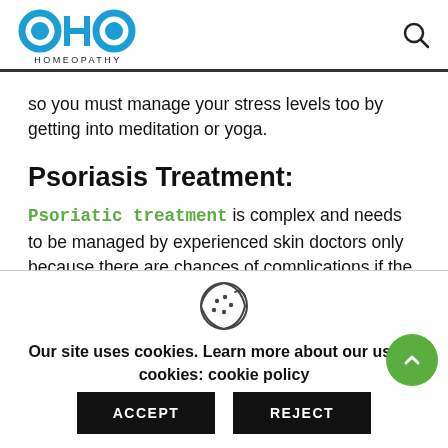OHO HOMEOPATHY
so you must manage your stress levels too by getting into meditation or yoga.
Psoriasis Treatment:
Psoriatic treatment is complex and needs to be managed by experienced skin doctors only because there are chances of complications if the method that
Our site uses cookies. Learn more about our use of cookies: cookie policy
ACCEPT
REJECT